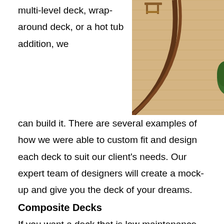multi-level deck, wrap-around deck, or a hot tub addition, we
[Figure (photo): Overhead and angled view of a composite deck with curved design, outdoor furniture including a wooden chair, dark brown railing border, and green hanging plants.]
can build it. There are several examples of how we were able to custom fit and design each deck to suit our client's needs. Our expert team of designers will create a mock-up and give you the deck of your dreams.
Composite Decks
If you want a deck that is low maintenance, easy to clean, and will stand the test of time composite decking is for you. We wanted to provide a lasting solution to deck longevity, which is why we became Trex platinum-certified. Trex